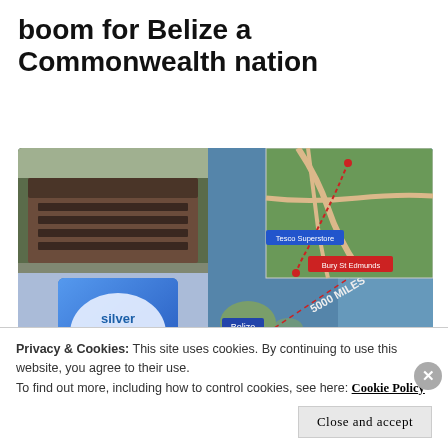boom for Belize a Commonwealth nation
[Figure (photo): Composite image showing a Tesco superstore building (top-left), an aerial/map view of Bury St Edmunds with Tesco Superstore marked (top-right inset), a Silver Spoon sugar bag (bottom-left), and a world map showing a red dotted line of 5000 miles between Belize and Britain (bottom-right).]
Tesco pulls British Sugar from shelves in
Privacy & Cookies: This site uses cookies. By continuing to use this website, you agree to their use.
To find out more, including how to control cookies, see here: Cookie Policy
Close and accept